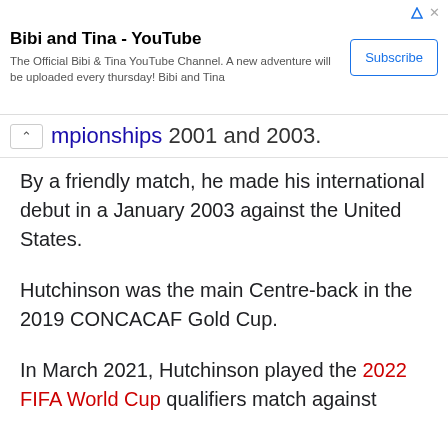[Figure (screenshot): YouTube ad banner for Bibi and Tina channel with Subscribe button]
mpionships 2001 and 2003.
By a friendly match, he made his international debut in a January 2003 against the United States.
Hutchinson was the main Centre-back in the 2019 CONCACAF Gold Cup.
In March 2021, Hutchinson played the 2022 FIFA World Cup qualifiers match against